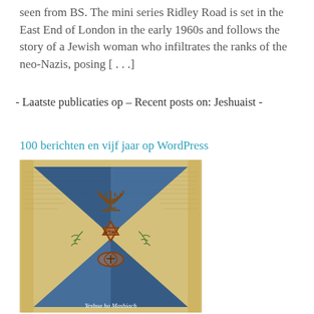seen from BS. The mini series Ridley Road is set in the East End of London in the early 1960s and follows the story of a Jewish woman who infiltrates the ranks of the neo-Nazis, posing [...]
- Laatste publicaties op – Recent posts on: Jeshuaist -
100 berichten en vijf jaar op WordPress
[Figure (illustration): Religious/spiritual illustration showing a menorah at top, Star of David with Hebrew text in the center, a fish symbol with a cross below, olive branches on either side, all overlaid on a blue triangular background with ancient manuscript text. Caption reads 'Yeshua ha Mashiach'.]